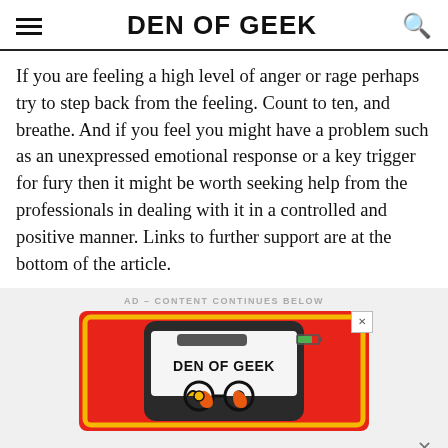DEN OF GEEK
If you are feeling a high level of anger or rage perhaps try to step back from the feeling. Count to ten, and breathe. And if you feel you might have a problem such as an unexpressed emotional response or a key trigger for fury then it might be worth seeking help from the professionals in dealing with it in a controlled and positive manner. Links to further support are at the bottom of the article.
AD – CONTENT CONTINUES BELOW
[Figure (advertisement): Den of Geek advertisement banner showing a stylized phone graphic with the Den of Geek logo and spiral glasses icon on a red and yellow background]